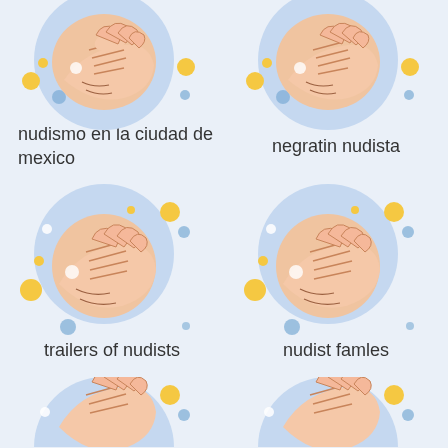[Figure (illustration): Icon of hand scrubbing skin in a blue circle with decorative dots]
[Figure (illustration): Icon of hand scrubbing skin in a blue circle with decorative dots]
nudismo en la ciudad de mexico
negratin nudista
[Figure (illustration): Icon of hand scrubbing skin in a blue circle with decorative dots]
[Figure (illustration): Icon of hand scrubbing skin in a blue circle with decorative dots]
trailers of nudists
nudist famles
[Figure (illustration): Icon of hand scrubbing skin in a blue circle with decorative dots (partial, bottom)]
[Figure (illustration): Icon of hand scrubbing skin in a blue circle with decorative dots (partial, bottom)]